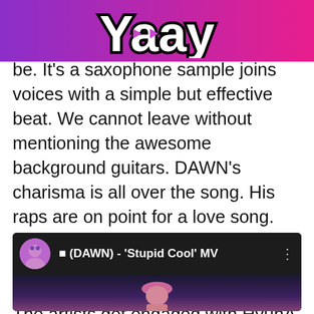Yaay
be. It's a saxophone sample joins voices with a simple but effective beat. We cannot leave without mentioning the awesome background guitars. DAWN's charisma is all over the song. His raps are on point for a love song. Lovely but energetic at the same time. Finally, let's talk about the rapper using this song to propose. The artists get engaged with HyunA a few months ago and he is sharing his happiness with music.
[Figure (screenshot): YouTube video embed showing '♀ (DAWN) - 'Stupid Cool' MV' with avatar thumbnail on dark background]